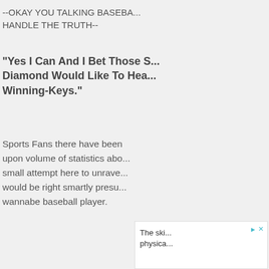--OKAY YOU TALKING BASEBALL CAN YOU HANDLE THE TRUTH--
"Yes I Can And I Bet Those S... Diamond Would Like To Hea... Winning-Keys."
Sports Fans there have been upon volume of statistics abo... small attempt here to unrave... would be right smartly presu... wannabe baseball player.
[Figure (screenshot): Advertisement box with play and close icons, partial text reading 'The ski... physica...']